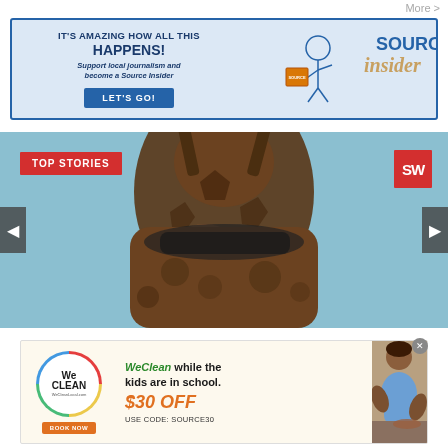More >
[Figure (infographic): Source Weekly Insider advertisement banner: 'IT'S AMAZING HOW ALL THIS HAPPENS! Support local journalism and become a Source Insider' with LET'S GO! button and illustrated figure reading a magazine alongside SOURCE WEEKLY insider logo]
[Figure (photo): Close-up photo of a giraffe face from below with sky background, labeled TOP STORIES with SW logo (Source Weekly) and left/right navigation arrows]
[Figure (infographic): WeClean advertisement: 'WeClean while the kids are in school. $30 OFF USE CODE: Source30' with WeClean circular logo, BOOK NOW button, and photo of cleaning person]